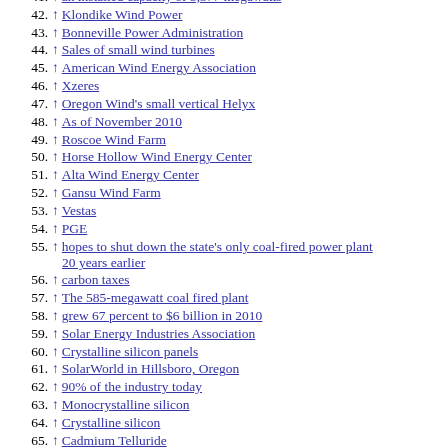41. ↑ an installed capacity of 5,377 megawatts
42. ↑ Klondike Wind Power
43. ↑ Bonneville Power Administration
44. ↑ Sales of small wind turbines
45. ↑ American Wind Energy Association
46. ↑ Xzeres
47. ↑ Oregon Wind's small vertical Helyx
48. ↑ As of November 2010
49. ↑ Roscoe Wind Farm
50. ↑ Horse Hollow Wind Energy Center
51. ↑ Alta Wind Energy Center
52. ↑ Gansu Wind Farm
53. ↑ Vestas
54. ↑ PGE
55. ↑ hopes to shut down the state's only coal-fired power plant 20 years earlier
56. ↑ carbon taxes
57. ↑ The 585-megawatt coal fired plant
58. ↑ grew 67 percent to $6 billion in 2010
59. ↑ Solar Energy Industries Association
60. ↑ Crystalline silicon panels
61. ↑ SolarWorld in Hillsboro, Oregon
62. ↑ 90% of the industry today
63. ↑ Monocrystalline silicon
64. ↑ Crystalline silicon
65. ↑ Cadmium Telluride